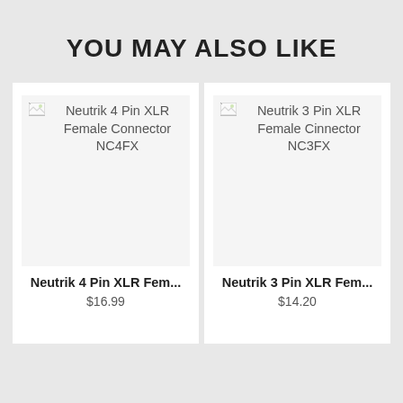YOU MAY ALSO LIKE
[Figure (photo): Broken image placeholder for Neutrik 4 Pin XLR Female Connector NC4FX]
Neutrik 4 Pin XLR Fem...
$16.99
[Figure (photo): Broken image placeholder for Neutrik 3 Pin XLR Female Cinnector NC3FX]
Neutrik 3 Pin XLR Fem...
$14.20